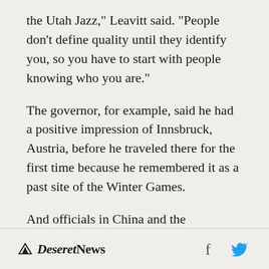the Utah Jazz," Leavitt said. "People don't define quality until they identify you, so you have to start with people knowing who you are."
The governor, for example, said he had a positive impression of Innsbruck, Austria, before he traveled there for the first time because he remembered it as a past site of the Winter Games.
And officials in China and the Philippines, where Leavitt visited last year, wanted to hear about the Jazz, too, before discussing more serious subjects like international commerce.
Deseret News